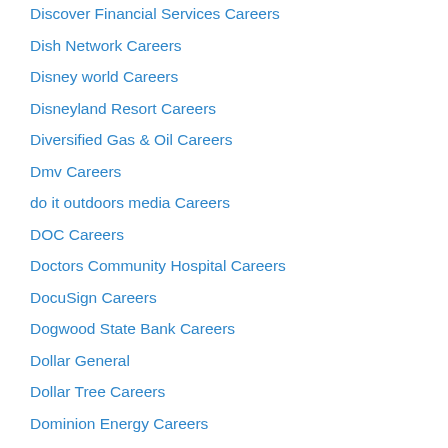Discover Financial Services Careers
Dish Network Careers
Disney world Careers
Disneyland Resort Careers
Diversified Gas & Oil Careers
Dmv Careers
do it outdoors media Careers
DOC Careers
Doctors Community Hospital Careers
DocuSign Careers
Dogwood State Bank Careers
Dollar General
Dollar Tree Careers
Dominion Energy Careers